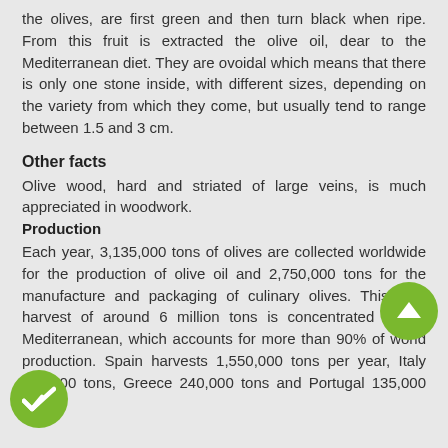the olives, are first green and then turn black when ripe. From this fruit is extracted the olive oil, dear to the Mediterranean diet. They are ovoidal which means that there is only one stone inside, with different sizes, depending on the variety from which they come, but usually tend to range between 1.5 and 3 cm.
Other facts
Olive wood, hard and striated of large veins, is much appreciated in woodwork.
Production
Each year, 3,135,000 tons of olives are collected worldwide for the production of olive oil and 2,750,000 tons for the manufacture and packaging of culinary olives. This total harvest of around 6 million tons is concentrated in the Mediterranean, which accounts for more than 90% of world production. Spain harvests 1,550,000 tons per year, Italy 270,000 tons, Greece 240,000 tons and Portugal 135,000 tons.